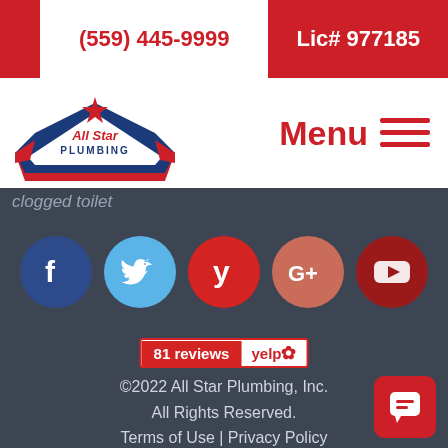(559) 445-9999  Lic# 977185
[Figure (logo): All Star Plumbing logo with decorative script text and star/shield emblem]
Menu ≡
clogged toilet
[Figure (infographic): Row of five social media icons: Facebook (blue), Twitter (light blue), Yelp (red), Google+ (salmon), YouTube (dark red)]
[Figure (other): Yelp review badge showing '81 reviews' with Yelp logo]
©2022 All Star Plumbing, Inc. All Rights Reserved. Terms of Use | Privacy Policy